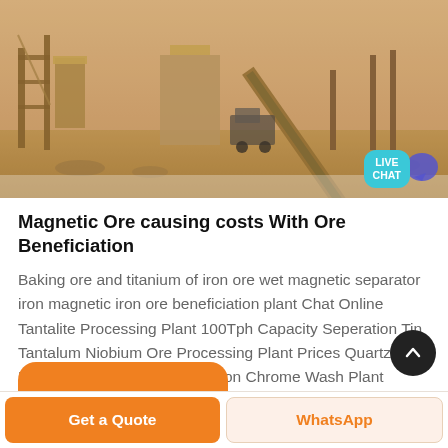[Figure (photo): Mining/ore processing facility with heavy machinery, conveyor belts, and industrial structures in a dusty outdoor setting. A Live Chat button is overlaid in the bottom-right corner.]
Magnetic Ore causing costs With Ore Beneficiation
Baking ore and titanium of iron ore wet magnetic separator iron magnetic iron ore beneficiation plant Chat Online Tantalite Processing Plant 100Tph Capacity Seperation Tin Tantalum Niobium Ore Processing Plant Prices Quartz Ore Black Silica Sand Magnetite Iron Chrome Wash Plant Tantalite
Get a Quote
WhatsApp